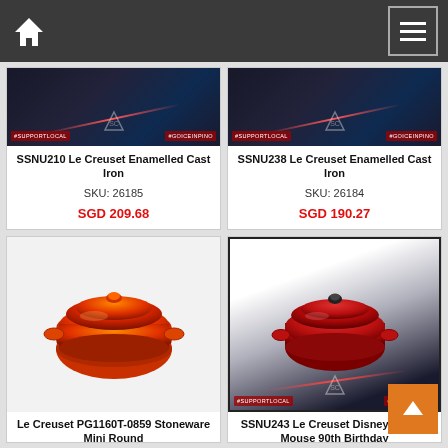Navigation bar with home icon and menu icon
SSNU210 Le Creuset Enamelled Cast Iron
SKU: 26185
SGD 209.68
SSNU238 Le Creuset Enamelled Cast Iron
SKU: 26184
SGD 190.27
[Figure (photo): Le Creuset orange/red mini round pot with lid - stoneware]
Le Creuset PG1160T-0859 Stoneware Mini Round
SKU: 26174
[Figure (photo): Le Creuset red cast iron round cocotte with black knob on dark promotional banner]
SSNU243 Le Creuset Disney Mickey Mouse 90th Birthday
SKU: 26102